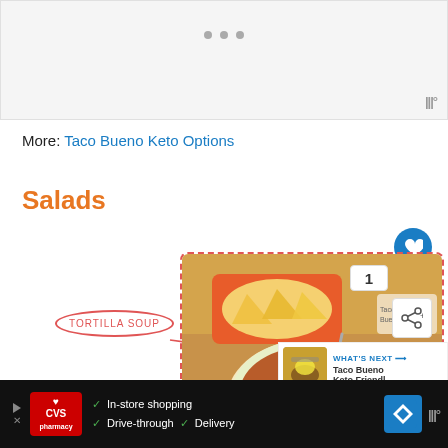[Figure (screenshot): Top advertisement placeholder area with three gray dots and brand icon]
More: Taco Bueno Keto Options
Salads
[Figure (photo): Photo of Tortilla Soup in a bowl with chips, salsa, and lime garnish. A handwritten label circle reads TORTILLA SOUP with an arrow pointing to the dish. A heart button, number 1, share button, and a What's Next panel for Taco Bueno Keto Friendl... overlay the image.]
[Figure (screenshot): Bottom advertisement bar for CVS pharmacy showing In-store shopping, Drive-through, and Delivery options with navigation icon]